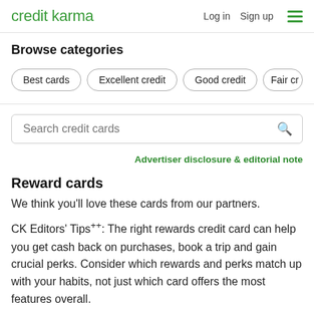credit karma | Log in  Sign up
Browse categories
Best cards
Excellent credit
Good credit
Fair cr
Search credit cards
Advertiser disclosure & editorial note
Reward cards
We think you’ll love these cards from our partners.
CK Editors’ Tips⁺⁺: The right rewards credit card can help you get cash back on purchases, book a trip and gain crucial perks. Consider which rewards and perks match up with your habits, not just which card offers the most features overall.